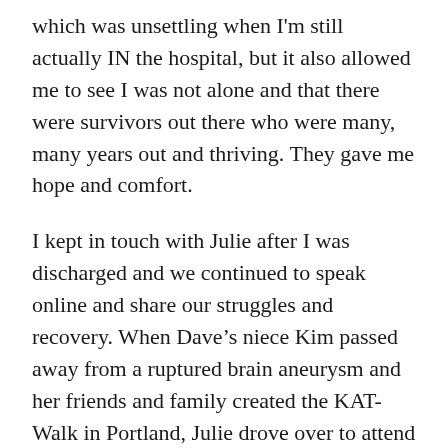which was unsettling when I'm still actually IN the hospital, but it also allowed me to see I was not alone and that there were survivors out there who were many, many years out and thriving. They gave me hope and comfort.
I kept in touch with Julie after I was discharged and we continued to speak online and share our struggles and recovery. When Dave's niece Kim passed away from a ruptured brain aneurysm and her friends and family created the KAT-Walk in Portland, Julie drove over to attend one of the first events. Her support meant a great deal to me and it was great to meet her in person! Social media apps and cell phone capabilities weren't as active then as they are now.
We also befriended Lori, another survivor from Florida who we had some very difficult times with at one point...